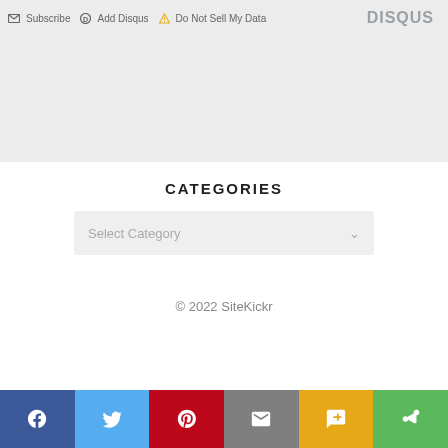Subscribe  Add Disqus  Do Not Sell My Data  DISQUS
CATEGORIES
Select Category
© 2022 SiteKickr
[Figure (infographic): Social share bar with icons: Facebook (blue), Twitter (light blue), Pinterest (red), Email (grey), SMS (yellow/amber), Share (green)]